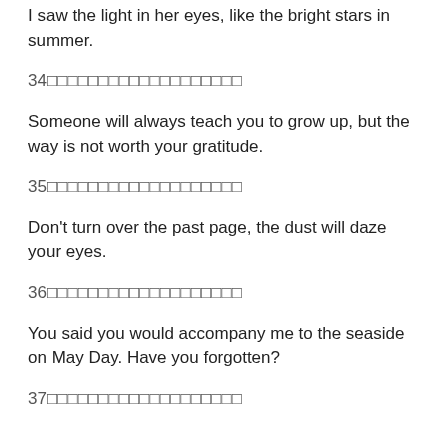I saw the light in her eyes, like the bright stars in summer.
34□□□□□□□□□□□□□□□□□□□
Someone will always teach you to grow up, but the way is not worth your gratitude.
35□□□□□□□□□□□□□□□□□□□
Don't turn over the past page, the dust will daze your eyes.
36□□□□□□□□□□□□□□□□□□□
You said you would accompany me to the seaside on May Day. Have you forgotten?
37□□□□□□□□□□□□□□□□□□□